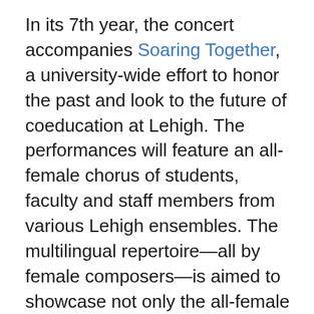In its 7th year, the concert accompanies Soaring Together, a university-wide effort to honor the past and look to the future of coeducation at Lehigh. The performances will feature an all-female chorus of students, faculty and staff members from various Lehigh ensembles. The multilingual repertoire—all by female composers—is aimed to showcase not only the all-female chorus as a powerful instrument but also the full range of the woman's experience.
“As women, we are each other’s supporting system,” says Dolce Director